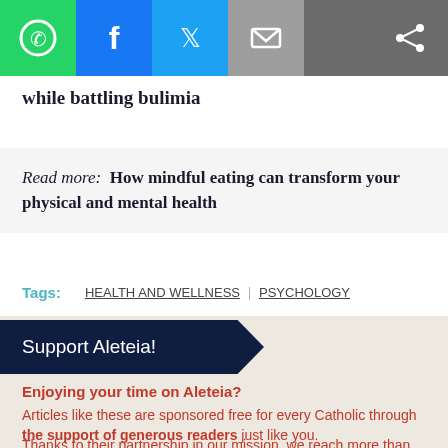[Figure (screenshot): Social media toolbar with WhatsApp (green), Facebook (blue), Twitter (light blue), email (grey) buttons, and a share icon on the right]
while battling bulimia
Read more:   How mindful eating can transform your physical and mental health
Tags:   HEALTH AND WELLNESS | PSYCHOLOGY
Support Aleteia!
Enjoying your time on Aleteia?
Articles like these are sponsored free for every Catholic through the support of generous readers just like you.
Thanks to their partnership in our mission, we reach more than 20